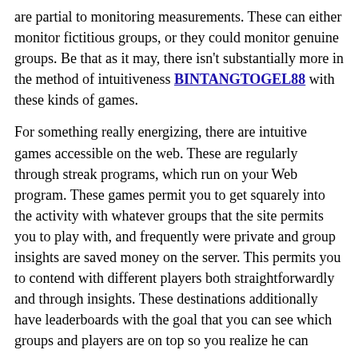are partial to monitoring measurements. These can either monitor fictitious groups, or they could monitor genuine groups. Be that as it may, there isn't substantially more in the method of intuitiveness BINTANGTOGEL88 with these kinds of games.
For something really energizing, there are intuitive games accessible on the web. These are regularly through streak programs, which run on your Web program. These games permit you to get squarely into the activity with whatever groups that the site permits you to play with, and frequently were private and group insights are saved money on the server. This permits you to contend with different players both straightforwardly and through insights. These destinations additionally have leaderboards with the goal that you can see which groups and players are on top so you realize he can attempt to oust.
Generally speaking the more intelligent experience is certainly inside football match-ups. These games provide you with the genuine sensation of playing football on your PC and the excitement of contest across the board go. Also, is that a considerable lot of these locales currently have exceptionally top of the line and practical designs which can truly place you into the game. On the off chance that you never played football of these locales, this moment is certainly the opportunity to make it happen.
The reality of issue is, playing football online can give you an